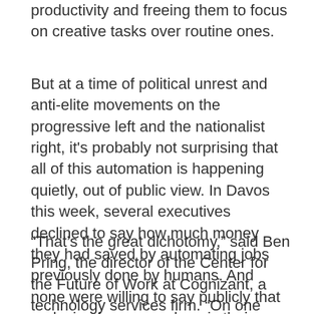productivity and freeing them to focus on creative tasks over routine ones.
But at a time of political unrest and anti-elite movements on the progressive left and the nationalist right, it's probably not surprising that all of this automation is happening quietly, out of public view. In Davos this week, several executives declined to say how much money they had saved by automating jobs previously done by humans. And none were willing to say publicly that replacing human workers is their ultimate goal.
“That’s the great dichotomy,” said Ben Pring, the director of the Center for the Future of Work at Cognizant, a technology services firm. “On one hand,” he said, profit-minded executives “absolutely want to automate as much as they